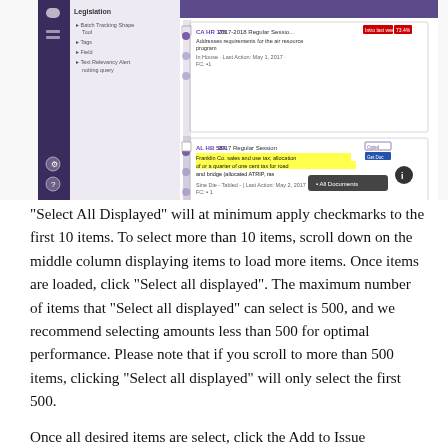[Figure (screenshot): Screenshot of a legislative tracking application interface showing a dark sidebar, a left panel with filter options (Legislation type, Tags, Field, Text/Relevancy Alert, Hotlist Query), and a main panel with bill cards including CA HR 176 2017-2018 Regular Session and AL HB 584 2017 Regular Session. Bills show metadata, status badges, and an 'All Documents' button in the bottom right.]
"Select All Displayed" will at minimum apply checkmarks to the first 10 items. To select more than 10 items, scroll down on the middle column displaying items to load more items. Once items are loaded, click "Select all displayed". The maximum number of items that "Select all displayed" can select is 500, and we recommend selecting amounts less than 500 for optimal performance. Please note that if you scroll to more than 500 items, clicking "Select all displayed" will only select the first 500.
Once all desired items are select, click the Add to Issue